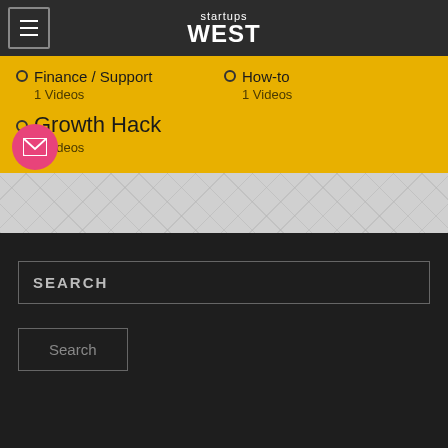startups WEST
Finance / Support
1 Videos
How-to
1 Videos
Growth Hack
1 Videos
SEARCH
Search
startupswest.com 2015-18 All rights reserved.